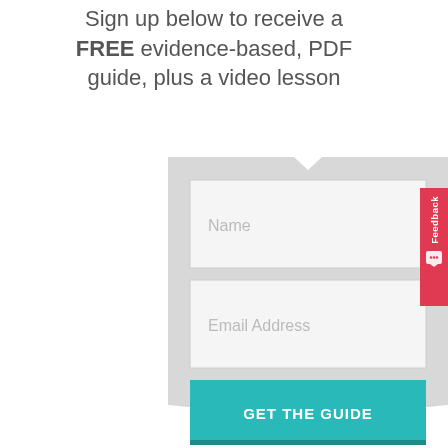Sign up below to receive a FREE evidence-based, PDF guide, plus a video lesson
[Figure (screenshot): Web form with Name and Email Address input fields, a teal GET THE GUIDE button, displayed on a gray folded-ribbon style panel. A red Feedback tab appears on the right edge.]